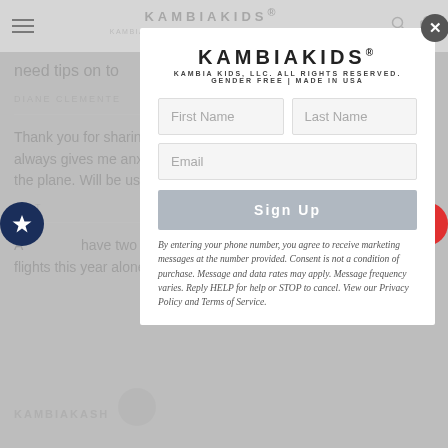[Figure (screenshot): KambiaKids website blog page with comments section, partially dimmed by a modal overlay. Background shows navigation header with hamburger menu, KambiaKids logo, search and cart icons. Body shows partial text 'need tips on to...' and author 'DIANE CLEMENTE   SEPTEMBER 24, 2019'. A comment reads 'Thank you for sharing such great tips! Travelling with my small kids always gives me anxiety as I am unsure of how they will behave on the plane. Will be using some of these on our next trip!' attributed to 'VICT...' with date '...9'. Another comment begins 'A... have two toddlers (age 2 and 3) and they've been on 16 flights this year alone. Those...' Side buttons: left dark blue circle with star icon, right red circle with heart icon. Bottom shows KAMBIAKASH text and a circle icon.]
[Figure (screenshot): KambiaKids email signup modal overlay. Contains KambiaKids logo with trademark symbol and tagline 'KAMBIA KIDS, LLC. ALL RIGHTS RESERVED. GENDER FREE | MADE IN USA'. Form fields for First Name, Last Name, and Email. A 'Sign Up' button. Fine print about phone number consent, marketing messages, HELP/STOP instructions, Privacy Policy and Terms of Service links. Close button (X) in top-right corner of modal.]